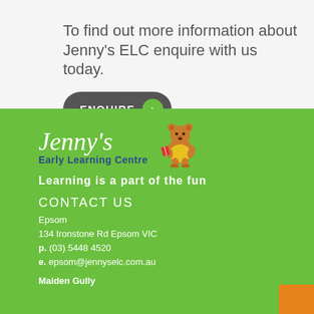To find out more information about Jenny's ELC enquire with us today.
[Figure (other): Dark grey pill-shaped enquire button with 'ENQUIRE' text and a green circular arrow icon on the right]
[Figure (logo): Jenny's Early Learning Centre logo with bear mascot on green background]
Learning is a part of the fun
CONTACT US
Epsom
134 Ironstone Rd Epsom VIC
p. (03) 5448 4520
e. epsom@jennyselc.com.au
Maiden Gully